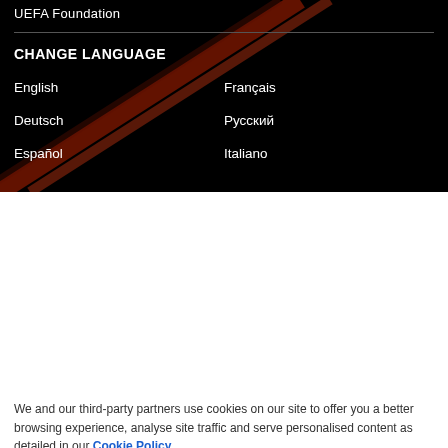UEFA Foundation
CHANGE LANGUAGE
English
Français
Deutsch
Русский
Español
Italiano
We and our third-party partners use cookies on our site to offer you a better browsing experience, analyse site traffic and serve personalised content as detailed in our Cookie Policy.
✓  Accept all
✗  Reject all
Cookie settings  >